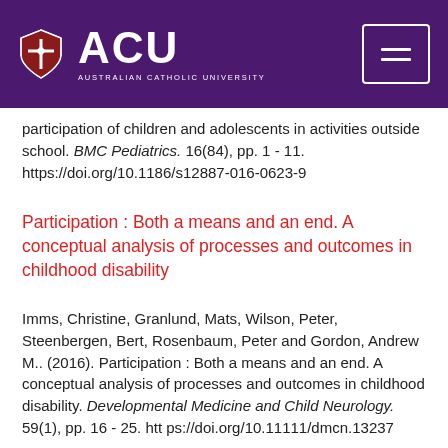ACU - Australian Catholic University
participation of children and adolescents in activities outside school. BMC Pediatrics. 16(84), pp. 1 - 11. https://doi.org/10.1186/s12887-016-0623-9
Participation : Both a means and an end. A conceptual analysis of processes and outcomes in childhood disability
Imms, Christine, Granlund, Mats, Wilson, Peter, Steenbergen, Bert, Rosenbaum, Peter and Gordon, Andrew M.. (2016). Participation : Both a means and an end. A conceptual analysis of processes and outcomes in childhood disability. Developmental Medicine and Child Neurology. 59(1), pp. 16 - 25. https://doi.org/10.11111/dmcn.13237